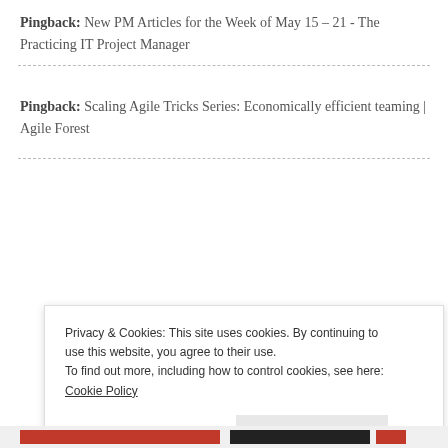Pingback: New PM Articles for the Week of May 15 – 21 - The Practicing IT Project Manager
Pingback: Scaling Agile Tricks Series: Economically efficient teaming | Agile Forest
Privacy & Cookies: This site uses cookies. By continuing to use this website, you agree to their use.
To find out more, including how to control cookies, see here: Cookie Policy
Close and accept